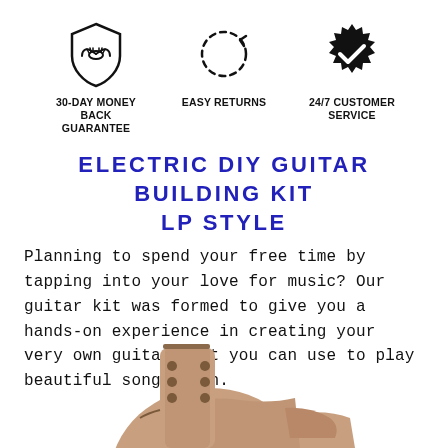[Figure (infographic): Three trust badge icons in a row: a shield with handshake (30-Day Money Back Guarantee), a circular arrow (Easy Returns), and a gear/star badge with checkmark (24/7 Customer Service)]
ELECTRIC DIY GUITAR BUILDING KIT LP STYLE
Planning to spend your free time by tapping into your love for music? Our guitar kit was formed to give you a hands-on experience in creating your very own guitar that you can use to play beautiful songs with.
[Figure (photo): Bottom portion of an unfinished wooden electric guitar body and neck (LP style), showing raw wood in a tan/beige color, partially cut off at the bottom of the page.]